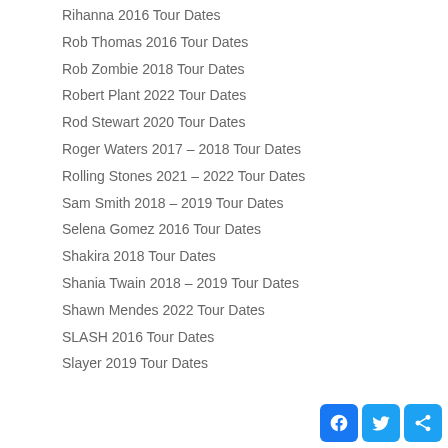Rihanna 2016 Tour Dates
Rob Thomas 2016 Tour Dates
Rob Zombie 2018 Tour Dates
Robert Plant 2022 Tour Dates
Rod Stewart 2020 Tour Dates
Roger Waters 2017 – 2018 Tour Dates
Rolling Stones 2021 – 2022 Tour Dates
Sam Smith 2018 – 2019 Tour Dates
Selena Gomez 2016 Tour Dates
Shakira 2018 Tour Dates
Shania Twain 2018 – 2019 Tour Dates
Shawn Mendes 2022 Tour Dates
SLASH 2016 Tour Dates
Slayer 2019 Tour Dates